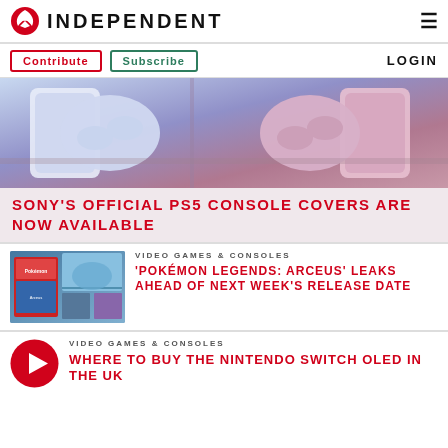INDEPENDENT
Contribute  Subscribe  LOGIN
[Figure (photo): Sony PS5 consoles with DualSense controllers in blue/white and pink/purple colorways displayed against a mauve background]
SONY'S OFFICIAL PS5 CONSOLE COVERS ARE NOW AVAILABLE
VIDEO GAMES & CONSOLES
[Figure (photo): Pokémon Legends: Arceus game box art and gameplay screenshots showing characters and landscapes]
'POKÉMON LEGENDS: ARCEUS' LEAKS AHEAD OF NEXT WEEK'S RELEASE DATE
VIDEO GAMES & CONSOLES
WHERE TO BUY THE NINTENDO SWITCH OLED IN THE UK
[Figure (other): Red circular play button icon (partial, bottom of page)]